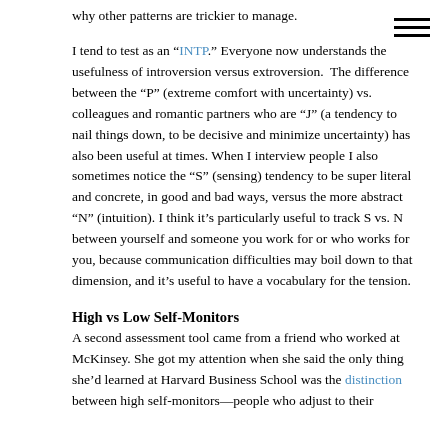why other patterns are trickier to manage.
I tend to test as an “INTP.” Everyone now understands the usefulness of introversion versus extroversion. The difference between the “P” (extreme comfort with uncertainty) vs. colleagues and romantic partners who are “J” (a tendency to nail things down, to be decisive and minimize uncertainty) has also been useful at times. When I interview people I also sometimes notice the “S” (sensing) tendency to be super literal and concrete, in good and bad ways, versus the more abstract “N” (intuition). I think it’s particularly useful to track S vs. N between yourself and someone you work for or who works for you, because communication difficulties may boil down to that dimension, and it’s useful to have a vocabulary for the tension.
High vs Low Self-Monitors
A second assessment tool came from a friend who worked at McKinsey. She got my attention when she said the only thing she’d learned at Harvard Business School was the distinction between high self-monitors—people who adjust to their